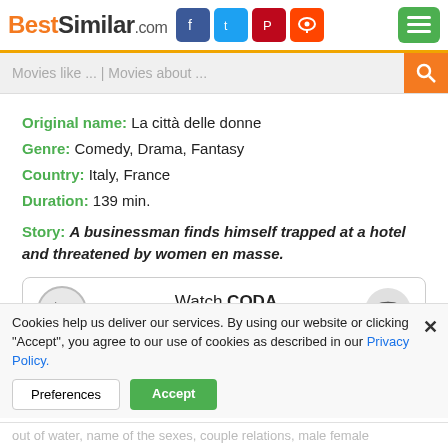BestSimilar.com
Movies like ... | Movies about ...
Original name: La città delle donne
Genre: Comedy, Drama, Fantasy
Country: Italy, France
Duration: 139 min.
Story: A businessman finds himself trapped at a hotel and threatened by women en masse.
[Figure (other): Watch CODA only on Apple TV+ streaming widget with play button and wifi icon]
Style: surreal, atmospheric, clever, humorous, realistic, witty, semi serious, semi sexual, erotic
Cookies help us deliver our services. By using our website or clicking "Accept", you agree to our use of cookies as described in our Privacy Policy.
out of water, name of the sexes, couple relations, male female